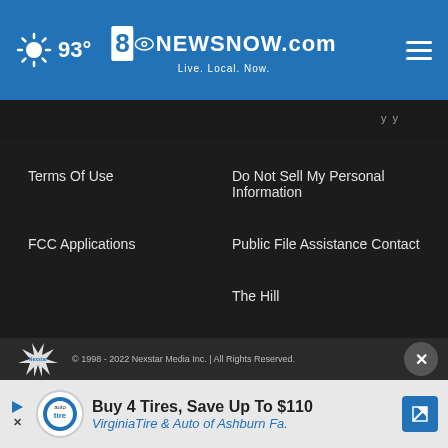8 News NOW.com Live. Local. Now. 93°
Terms Of Use
Do Not Sell My Personal Information
FCC Applications
Public File Assistance Contact
The Hill
NewsNation
BestReviews
Content Licensing
Nexstar Digital
© 1998 - 2022 Nexstar Media Inc. | All Rights Reserved.
[Figure (screenshot): Advertisement banner: Buy 4 Tires, Save Up To $110 - VirginiaTire & Auto of Ashburn Fa.]